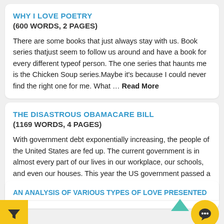WHY I LOVE POETRY
(600 WORDS, 2 PAGES)
There are some books that just always stay with us. Book series thatjust seem to follow us around and have a book for every different typeof person. The one series that haunts me is the Chicken Soup series.Maybe it's because I could never find the right one for me. What … Read More
THE DISASTROUS OBAMACARE BILL
(1169 WORDS, 4 PAGES)
With government debt exponentially increasing, the people of the United States are fed up. The current government is in almost every part of our lives in our workplace, our schools, and even our houses. This year the US government passed a bill which they said would cover every citizen with … Read More
AN ANALYSIS OF VARIOUS TYPES OF LOVE PRESENTED